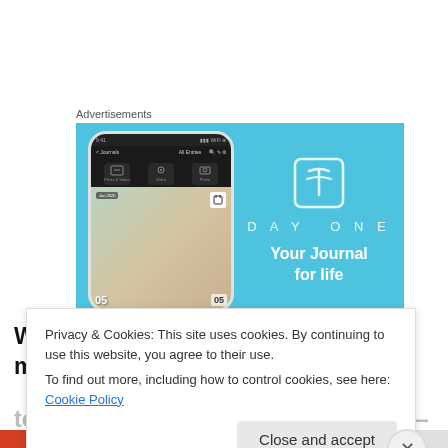Advertisements
[Figure (screenshot): DayOne app advertisement banner with light blue background showing a phone mockup displaying the app interface and the text 'DAYONE - Your Journal for life']
While this is clearly something we might expect an atheist
Privacy & Cookies: This site uses cookies. By continuing to use this website, you agree to their use.
To find out more, including how to control cookies, see here: Cookie Policy
Close and accept